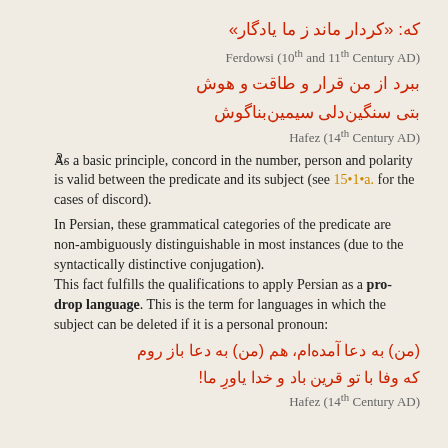که: «کردار ماند ز ما یادگار»
Ferdowsi (10th and 11th Century AD)
ببرد از من قرار و طاقت و هوش
بتی سنگین‌دلی سیمین‌بناگوش
Hafez (14th Century AD)
2. As a basic principle, concord in the number, person and polarity is valid between the predicate and its subject (see 15•1•a. for the cases of discord).
In Persian, these grammatical categories of the predicate are non-ambiguously distinguishable in most instances (due to the syntactically distinctive conjugation). This fact fulfills the qualifications to apply Persian as a pro-drop language. This is the term for languages in which the subject can be deleted if it is a personal pronoun:
(من) به دعا آمده‌ام، هم (من) به دعا باز روم
که وفا با تو قرین باد و خدا یاورِ ما!
Hafez (14th Century AD)